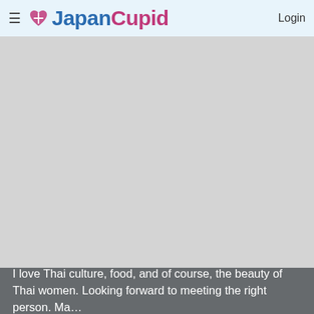JapanCupid Login
[Figure (photo): Profile photo area — gray placeholder, no image loaded]
I love Thai culture, food, and of course, the beauty of Thai women. Looking forward to meeting the right person. Ma…